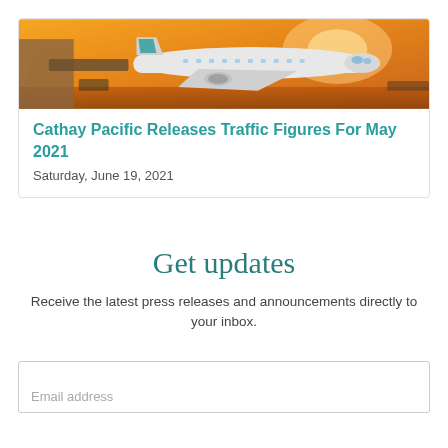[Figure (photo): Cathay Pacific airplane parked at gate during sunset/golden hour, with warm orange sky in background]
Cathay Pacific Releases Traffic Figures For May 2021
Saturday, June 19, 2021
Get updates
Receive the latest press releases and announcements directly to your inbox.
Email address